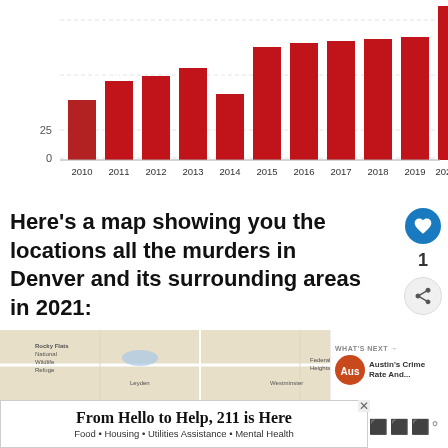[Figure (bar-chart): Denver homicides by year]
Here’s a map showing you the locations all the murders in Denver and its surrounding areas in 2021:
[Figure (map): Map of Denver and surrounding areas showing murder locations in 2021. Includes areas such as Rocky Flats National Wildlife Refuge, Northglenn, Federal Heights, Thornton, Welby, Derby, Rocky Mountain Arsenal, Westminster, Broomfield, and others.]
From Hello to Help, 211 is Here
Food • Housing • Utilities Assistance • Mental Health